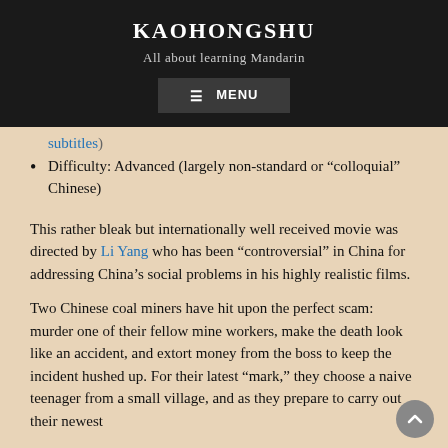KAOHONGSHU
All about learning Mandarin
MENU
subtitles)
Difficulty: Advanced (largely non-standard or “colloquial” Chinese)
This rather bleak but internationally well received movie was directed by Li Yang who has been “controversial” in China for addressing China’s social problems in his highly realistic films.
Two Chinese coal miners have hit upon the perfect scam: murder one of their fellow mine workers, make the death look like an accident, and extort money from the boss to keep the incident hushed up. For their latest “mark,” they choose a naive teenager from a small village, and as they prepare to carry out their newest